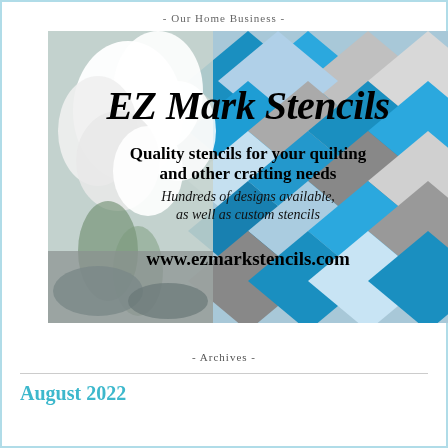- Our Home Business -
[Figure (advertisement): Advertisement image for EZ Mark Stencils showing a quilted fabric background in blue, gray and white diamond pattern with white flowers on the left. Text overlay reads: EZ Mark Stencils, Quality stencils for your quilting and other crafting needs, Hundreds of designs available, as well as custom stencils, www.ezmarkstencils.com]
- Archives -
August 2022